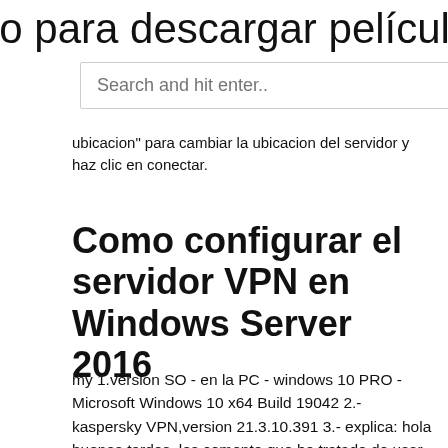io para descargar películas con utorr
Search and hit enter..
ubicacion" para cambiar la ubicacion del servidor y haz clic en conectar.
Como configurar el servidor VPN en Windows Server 2016
my 1.version SO - en la PC - windows 10 PRO - Microsoft Windows 10 x64 Build 19042 2.- kaspersky VPN,version 21.3.10.391 3.- explica: hola buenas tardes, les comento que he tratado de usar la VPN en la PC-portatil, ahora ando fisicamente en USA, al usar la VPN Windows 10 is one of the most popular operating systems used worldwide. As a Windows user, you have the advantage of picking a wide range of software that collaboratively enhances the performance of your device. Follow this step-by-step to configure PureVPN manually on your Windows 10 desktop or